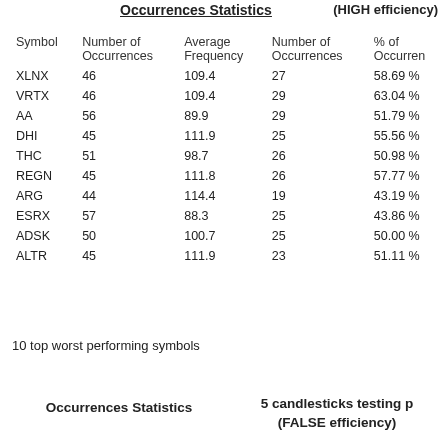Occurrences Statistics
(HIGH efficiency)
| Symbol | Number of Occurrences | Average Frequency | Number of Occurrences | % of Occurren |
| --- | --- | --- | --- | --- |
| XLNX | 46 | 109.4 | 27 | 58.69 % |
| VRTX | 46 | 109.4 | 29 | 63.04 % |
| AA | 56 | 89.9 | 29 | 51.79 % |
| DHI | 45 | 111.9 | 25 | 55.56 % |
| THC | 51 | 98.7 | 26 | 50.98 % |
| REGN | 45 | 111.8 | 26 | 57.77 % |
| ARG | 44 | 114.4 | 19 | 43.19 % |
| ESRX | 57 | 88.3 | 25 | 43.86 % |
| ADSK | 50 | 100.7 | 25 | 50.00 % |
| ALTR | 45 | 111.9 | 23 | 51.11 % |
10 top worst performing symbols
Occurrences Statistics
5 candlesticks testing p
(FALSE efficiency)